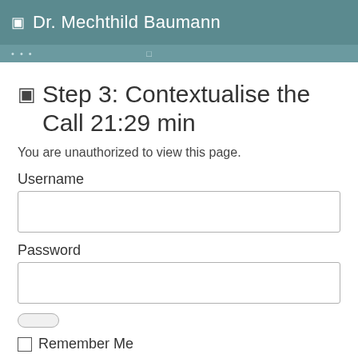Dr. Mechthild Baumann
Step 3: Contextualise the Call 21:29 min
You are unauthorized to view this page.
Username
Password
Remember Me